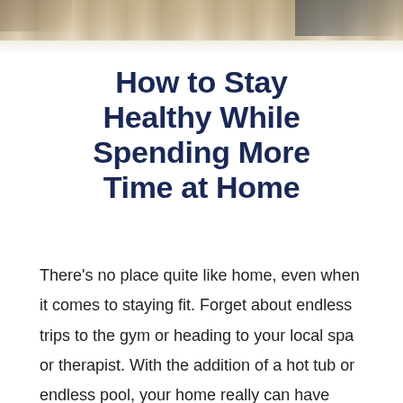[Figure (photo): Background photo strip showing wooden floor surface at the top of the page]
How to Stay Healthy While Spending More Time at Home
There's no place quite like home, even when it comes to staying fit. Forget about endless trips to the gym or heading to your local spa or therapist. With the addition of a hot tub or endless pool, your home really can have everything you need to stay healthy and happy.